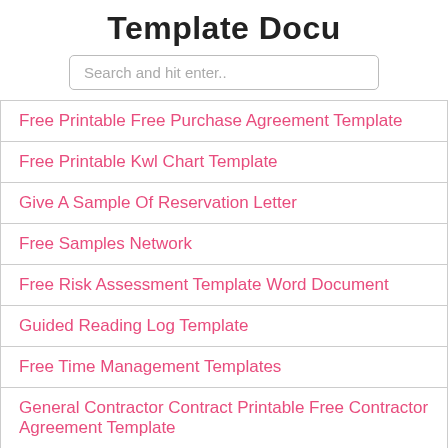Template Docu
Search and hit enter..
Free Printable Free Purchase Agreement Template
Free Printable Kwl Chart Template
Give A Sample Of Reservation Letter
Free Samples Network
Free Risk Assessment Template Word Document
Guided Reading Log Template
Free Time Management Templates
General Contractor Contract Printable Free Contractor Agreement Template
Free Proposal Templates